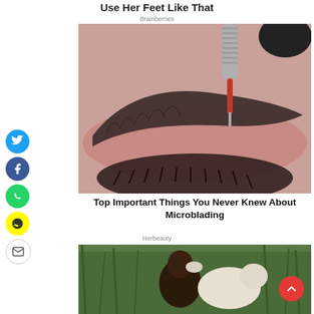Use Her Feet Like That
Brainberries
[Figure (photo): Close-up of a person having their eyebrow microbladed with a tattooing tool on reddened skin]
Top Important Things You Never Knew About Microblading
Herbeauty
[Figure (photo): A person and a white dog outdoors among tall green grass, viewed from behind]